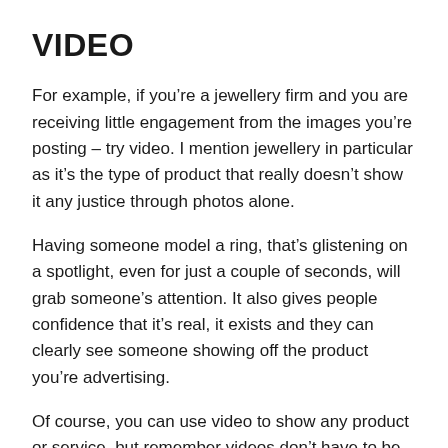VIDEO
For example, if you’re a jewellery firm and you are receiving little engagement from the images you’re posting – try video. I mention jewellery in particular as it’s the type of product that really doesn’t show it any justice through photos alone.
Having someone model a ring, that’s glistening on a spotlight, even for just a couple of seconds, will grab someone’s attention. It also gives people confidence that it’s real, it exists and they can clearly see someone showing off the product you’re advertising.
Of course, you can use video to show any product or service, but remember videos don’t have to be 10 minute long pieces of content – the shorter the better. People online have short attention spans, they want information